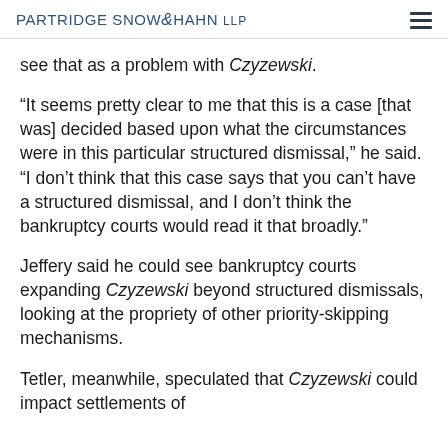PARTRIDGE SNOW & HAHN LLP
see that as a problem with Czyzewski.
“It seems pretty clear to me that this is a case [that was] decided based upon what the circumstances were in this particular structured dismissal,” he said. “I don’t think that this case says that you can’t have a structured dismissal, and I don’t think the bankruptcy courts would read it that broadly.”
Jeffery said he could see bankruptcy courts expanding Czyzewski beyond structured dismissals, looking at the propriety of other priority-skipping mechanisms.
Tetler, meanwhile, speculated that Czyzewski could impact settlements of